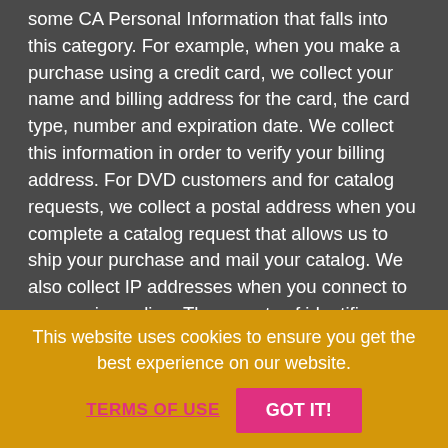some CA Personal Information that falls into this category. For example, when you make a purchase using a credit card, we collect your name and billing address for the card, the card type, number and expiration date. We collect this information in order to verify your billing address. For DVD customers and for catalog requests, we collect a postal address when you complete a catalog request that allows us to ship your purchase and mail your catalog. We also collect IP addresses when you connect to our service online. These sorts of identifiers are connected to your account.
2. Characteristics of protected classifications under California or federal law: This covers a broad range of information like race, sex, marital status, among other protected classes. We do not collect this type of information when
This website uses cookies to ensure you get the best experience on our website.
TERMS OF USE    GOT IT!